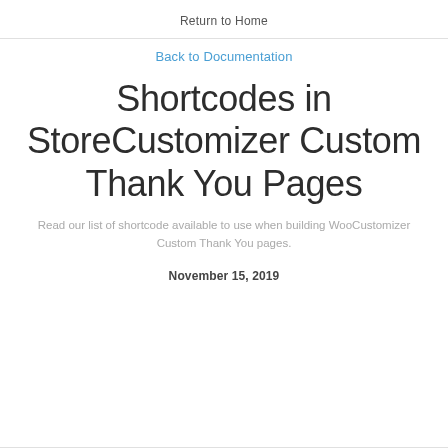Return to Home
Back to Documentation
Shortcodes in StoreCustomizer Custom Thank You Pages
Read our list of shortcode available to use when building WooCustomizer Custom Thank You pages.
November 15, 2019